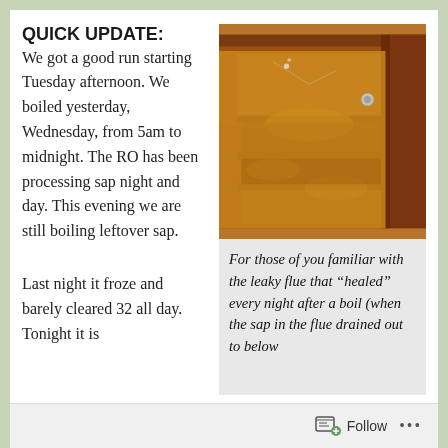QUICK UPDATE:
We got a good run starting Tuesday afternoon. We boiled yesterday, Wednesday, from 5am to midnight. The RO has been processing sap night and day. This evening we are still boiling leftover sap.
Last night it froze and barely cleared 32 all day. Tonight it is
[Figure (photo): Close-up photo of boiling maple sap in an evaporator pan showing golden amber liquid with steam and condensation on the metal surfaces.]
For those of you familiar with the leaky flue that “healed” every night after a boil (when the sap in the flue drained out to below
Follow •••